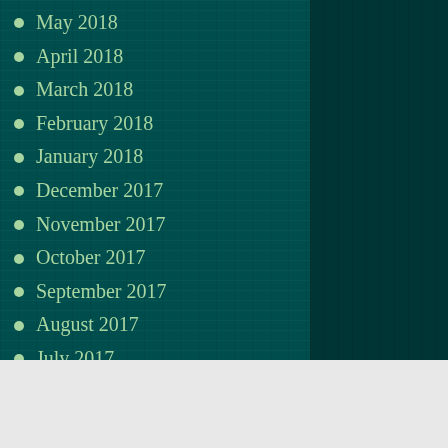May 2018
April 2018
March 2018
February 2018
January 2018
December 2017
November 2017
October 2017
September 2017
August 2017
July 2017
June 2017
[Figure (other): DuckDuckGo advertisement banner: 'Search, browse, and email with more privacy. All in One Free App' with DuckDuckGo logo on dark background]